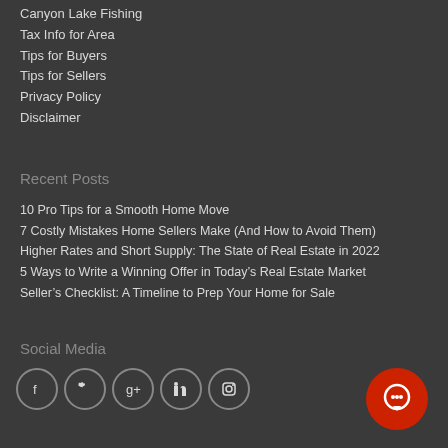Canyon Lake Fishing
Tax Info for Area
Tips for Buyers
Tips for Sellers
Privacy Policy
Disclaimer
Recent Posts
10 Pro Tips for a Smooth Home Move
7 Costly Mistakes Home Sellers Make (And How to Avoid Them)
Higher Rates and Short Supply: The State of Real Estate in 2022
5 Ways to Write a Winning Offer in Today’s Real Estate Market
Seller’s Checklist: A Timeline to Prep Your Home for Sale
Social Media
[Figure (other): Row of five circular social media icon buttons (Facebook, Twitter, Google+, LinkedIn, Instagram) with grey borders on dark background]